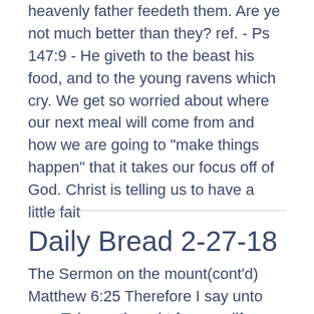heavenly father feedeth them. Are ye not much better than they? ref. - Ps 147:9 - He giveth to the beast his food, and to the young ravens which cry. We get so worried about where our next meal will come from and how we are going to "make things happen" that it takes our focus off of God. Christ is telling us to have a little fait
Daily Bread 2-27-18
The Sermon on the mount(cont'd) Matthew 6:25 Therefore I say unto you, Take no thought for your life, what ye shall eat, or what ye shall